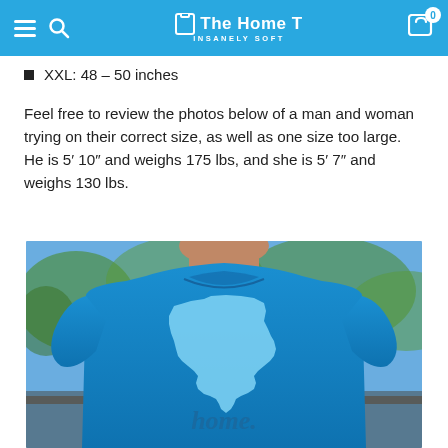The Home T — INSANELY SOFT
XXL: 48 – 50 inches
Feel free to review the photos below of a man and woman trying on their correct size, as well as one size too large. He is 5′ 10″ and weighs 175 lbs, and she is 5′ 7″ and weighs 130 lbs.
[Figure (photo): Man wearing a bright blue Home T shirt with New York state outline graphic and the word 'home.' printed on it]